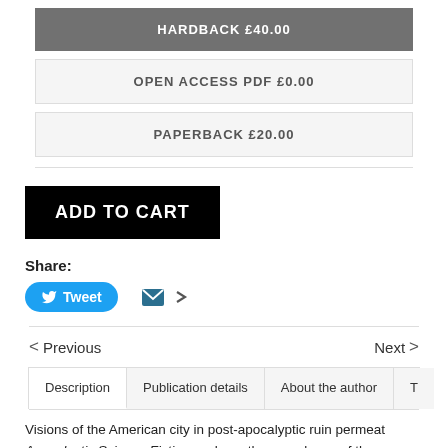HARDBACK £40.00
OPEN ACCESS PDF £0.00
PAPERBACK £20.00
ADD TO CART
Share:
Tweet
< Previous    Next >
Description
Publication details
About the author
Visions of the American city in post-apocalyptic ruin permeate Apocalyptic Science Fiction explores the prevalence of these from the early-twentieth century to today.